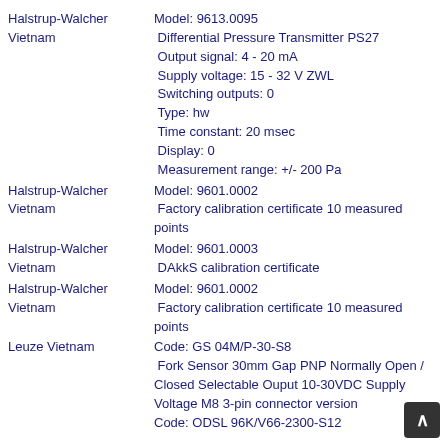Halstrup-Walcher Vietnam | Model: 9613.0095 Differential Pressure Transmitter PS27 Output signal: 4 - 20 mA Supply voltage: 15 - 32 V ZWL Switching outputs: 0 Type: hw Time constant: 20 msec Display: 0 Measurement range: +/- 200 Pa
Halstrup-Walcher Vietnam | Model: 9601.0002 Factory calibration certificate 10 measured points
Halstrup-Walcher Vietnam | Model: 9601.0003 DAkkS calibration certificate
Halstrup-Walcher Vietnam | Model: 9601.0002 Factory calibration certificate 10 measured points
Leuze Vietnam | Code: GS 04M/P-30-S8 Fork Sensor 30mm Gap PNP Normally Open / Closed Selectable Ouput 10-30VDC Supply Voltage M8 3-pin connector version Code: ODSL 96K/V66-2300-S12